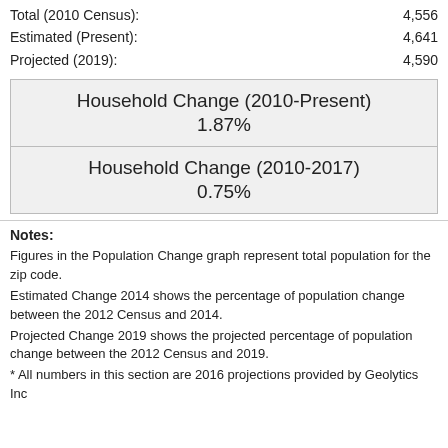Total (2010 Census): 4,556
Estimated (Present): 4,641
Projected (2019): 4,590
| Household Change (2010-Present) | 1.87% |
| Household Change (2010-2017) | 0.75% |
Notes:
Figures in the Population Change graph represent total population for the zip code.
Estimated Change 2014 shows the percentage of population change between the 2012 Census and 2014.
Projected Change 2019 shows the projected percentage of population change between the 2012 Census and 2019.
* All numbers in this section are 2016 projections provided by Geolytics Inc